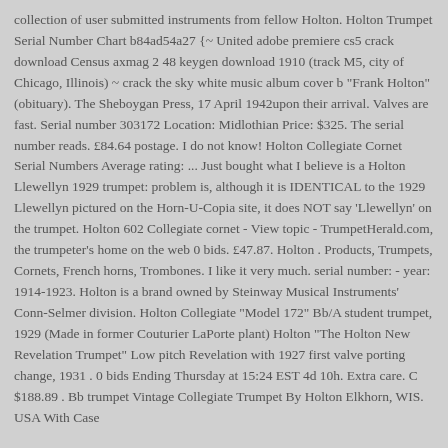collection of user submitted instruments from fellow Holton. Holton Trumpet Serial Number Chart b84ad54a27 {~ United adobe premiere cs5 crack download Census axmag 2 48 keygen download 1910 (track M5, city of Chicago, Illinois) ~ crack the sky white music album cover b "Frank Holton" (obituary). The Sheboygan Press, 17 April 1942upon their arrival. Valves are fast. Serial number 303172 Location: Midlothian Price: $325. The serial number reads. £84.64 postage. I do not know! Holton Collegiate Cornet Serial Numbers Average rating: ... Just bought what I believe is a Holton Llewellyn 1929 trumpet: problem is, although it is IDENTICAL to the 1929 Llewellyn pictured on the Horn-U-Copia site, it does NOT say 'Llewellyn' on the trumpet. Holton 602 Collegiate cornet - View topic - TrumpetHerald.com, the trumpeter's home on the web 0 bids. £47.87. Holton . Products, Trumpets, Cornets, French horns, Trombones. I like it very much. serial number: - year: 1914-1923. Holton is a brand owned by Steinway Musical Instruments' Conn-Selmer division. Holton Collegiate "Model 172" Bb/A student trumpet, 1929 (Made in former Couturier LaPorte plant) Holton "The Holton New Revelation Trumpet" Low pitch Revelation with 1927 first valve porting change, 1931 . 0 bids Ending Thursday at 15:24 EST 4d 10h. Extra care. C $188.89 . Bb trumpet Vintage Collegiate Trumpet By Holton Elkhorn, WIS. USA With Case